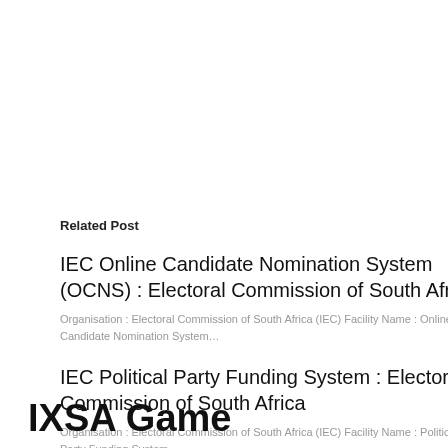Related Post
IEC Online Candidate Nomination System (OCNS) : Electoral Commission of South Africa
Organisation : Electoral Commission of South Africa (IEC) Facility Name : Online Candidate Nomination System…
IEC Political Party Funding System : Electoral Commission of South Africa
Organisation : Electoral Commission of South Africa (IEC) Facility Name : Political Party Funding System…
IXSA Game